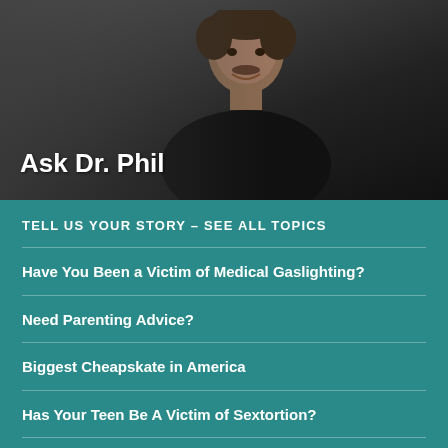[Figure (photo): Photo of Dr. Phil McGraw, a man with a mustache wearing a dark shirt, photographed against a gray gradient background]
Ask Dr. Phil
TELL US YOUR STORY – SEE ALL TOPICS
Have You Been a Victim of Medical Gaslighting?
Need Parenting Advice?
Biggest Cheapskate in America
Has Your Teen Be A Victim of Sextortion?
Inflation Frustration